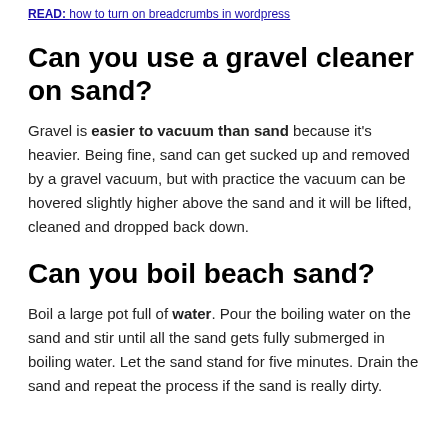READ: how to turn on breadcrumbs in wordpress
Can you use a gravel cleaner on sand?
Gravel is easier to vacuum than sand because it's heavier. Being fine, sand can get sucked up and removed by a gravel vacuum, but with practice the vacuum can be hovered slightly higher above the sand and it will be lifted, cleaned and dropped back down.
Can you boil beach sand?
Boil a large pot full of water. Pour the boiling water on the sand and stir until all the sand gets fully submerged in boiling water. Let the sand stand for five minutes. Drain the sand and repeat the process if the sand is really dirty.